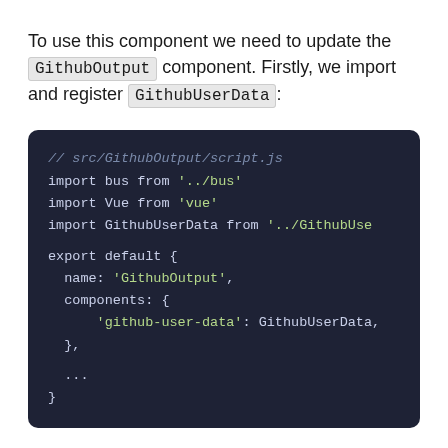To use this component we need to update the GithubOutput component. Firstly, we import and register GithubUserData:
[Figure (screenshot): Dark-themed code block showing JavaScript code for src/GithubOutput/script.js, importing bus, Vue, and GithubUserData, and exporting a default object with name 'GithubOutput' and components registration for 'github-user-data'.]